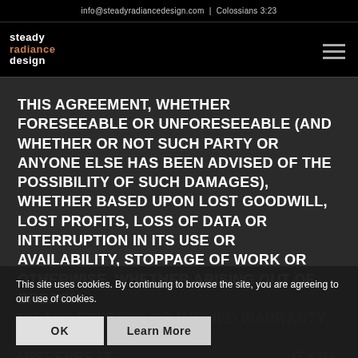info@steadyradiancedesign.com  |  Colossians 3:23
[Figure (logo): Steady Radiance Design logo — stacked text logo with 'steady' in white, 'radiance' in orange/copper, 'design' in white, on black background]
THIS AGREEMENT, WHETHER FORESEEABLE OR UNFORESEEABLE (AND WHETHER OR NOT SUCH PARTY OR ANYONE ELSE HAS BEEN ADVISED OF THE POSSIBILITY OF SUCH DAMAGES), WHETHER BASED UPON LOST GOODWILL, LOST PROFITS, LOSS OF DATA OR INTERRUPTION IN ITS USE OR AVAILABILITY, STOPPAGE OF WORK OR OTHERWISE, WHETHER ARISING OUT OF BREACH OF ANY EXPRESS OR IMPLIED WARRANTY, BREACH OF ANY EXPRESS OR IMPLIED WARRANTY, BREACH MISREPRESENTATION, STRICT LIABILITY IN TORT OR OTHERWISE, WHETHER BASED ON ANY PROVISION OF ANY AGREEMENT OR ANY OTHER
This site uses cookies. By continuing to browse the site, you are agreeing to our use of cookies.